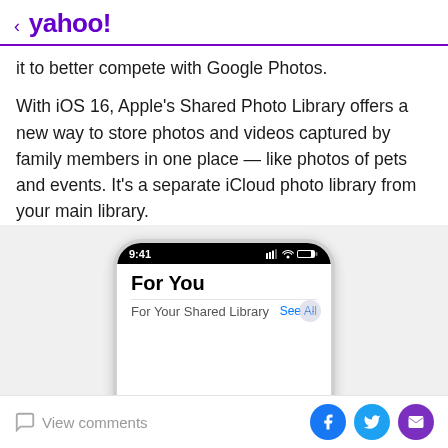< yahoo!
it to better compete with Google Photos.
With iOS 16, Apple's Shared Photo Library offers a new way to store photos and videos captured by family members in one place — like photos of pets and events. It's a separate iCloud photo library from your main library.
[Figure (screenshot): iPhone screenshot showing the Photos app 'For You' section with 'For Your Shared Library' subsection visible. Status bar shows 9:41 time. Phone frame is silver/aluminum.]
View comments